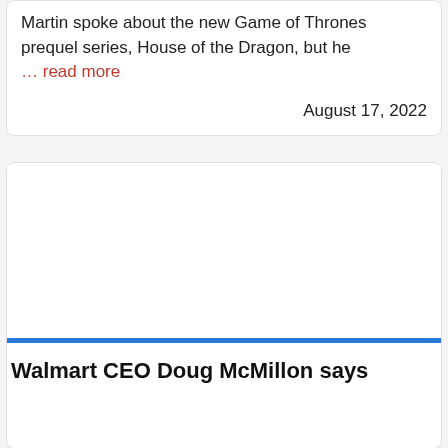Martin spoke about the new Game of Thrones prequel series, House of the Dragon, but he ... read more
August 17, 2022
[Figure (photo): Article image placeholder (white/blank area above blue bar)]
Walmart CEO Doug McMillon says